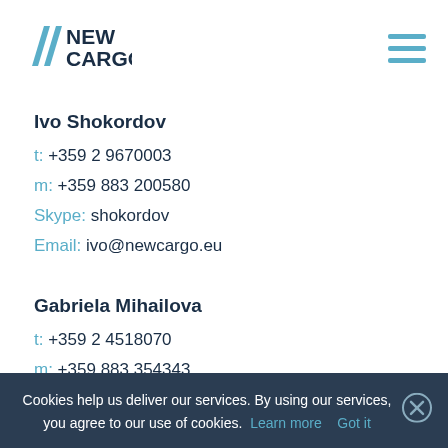[Figure (logo): New Cargo company logo with two blue diagonal stripes and bold dark blue text 'NEW CARGO']
Ivo Shokordov
t: +359 2 9670003
m: +359 883 200580
Skype: shokordov
Email: ivo@newcargo.eu
Gabriela Mihailova
t: +359 2 4518070
m: +359 883 354343
Cookies help us deliver our services. By using our services, you agree to our use of cookies. Learn more   Got it